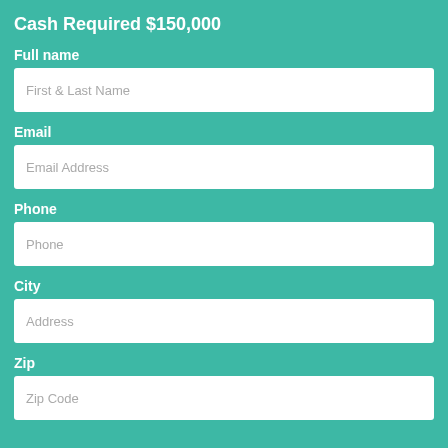Cash Required $150,000
Full name
First & Last Name
Email
Email Address
Phone
Phone
City
Address
Zip
Zip Code